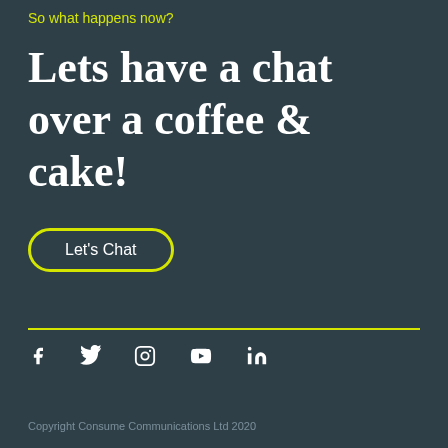So what happens now?
Lets have a chat over a coffee & cake!
Let's Chat
[Figure (other): Social media icons row: Facebook, Twitter, Instagram, YouTube, LinkedIn]
Copyright Consume Communications Ltd 2020